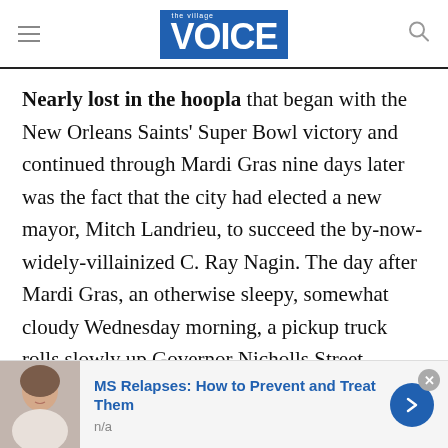the village VOICE
Nearly lost in the hoopla that began with the New Orleans Saints' Super Bowl victory and continued through Mardi Gras nine days later was the fact that the city had elected a new mayor, Mitch Landrieu, to succeed the by-now-widely-villainized C. Ray Nagin. The day after Mardi Gras, an otherwise sleepy, somewhat cloudy Wednesday morning, a pickup truck rolls slowly up Governor Nicholls Street, plying more politics. “Davis for City Council,” reads a sign on one side. Another: “McAlary: A
[Figure (photo): Advertisement banner showing a woman's face (MS Relapses ad), with blue title text 'MS Relapses: How to Prevent and Treat Them', subtitle 'n/a', a blue circular arrow button, and a close (x) button.]